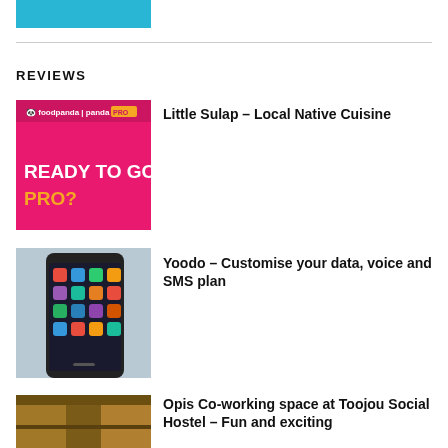[Figure (illustration): Blue banner/logo image at top left]
REVIEWS
[Figure (illustration): Foodpanda PandaPRO advertisement - pink background with text READY TO GO PRO?]
Little Sulap – Local Native Cuisine
[Figure (photo): Smartphone showing home screen with app icons]
Yoodo – Customise your data, voice and SMS plan
[Figure (photo): Opis Co-working space photo]
Opis Co-working space at Toojou Social Hostel – Fun and exciting